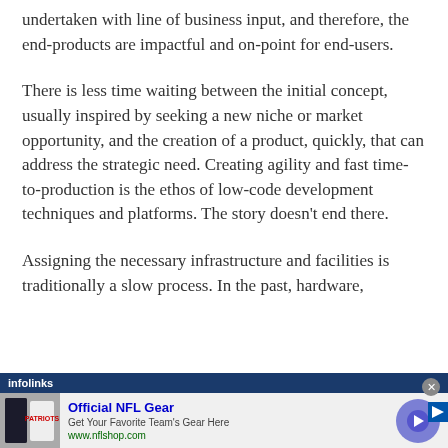undertaken with line of business input, and therefore, the end-products are impactful and on-point for end-users.
There is less time waiting between the initial concept, usually inspired by seeking a new niche or market opportunity, and the creation of a product, quickly, that can address the strategic need. Creating agility and fast time-to-production is the ethos of low-code development techniques and platforms. The story doesn't end there.
Assigning the necessary infrastructure and facilities is traditionally a slow process. In the past, hardware,
[Figure (screenshot): An infolinks advertisement overlay showing NFL gear ad with image of Patriots jerseys, title 'Official NFL Gear', subtitle 'Get Your Favorite Team's Gear Here', URL 'www.nflshop.com', and a blue circular arrow button.]